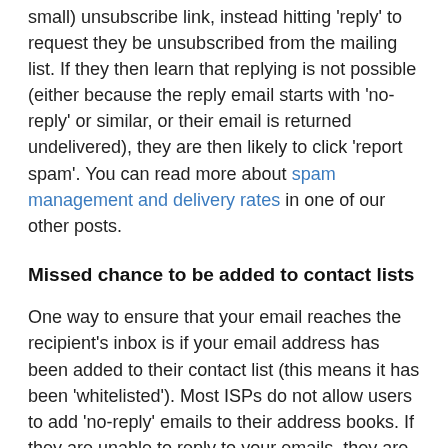small) unsubscribe link, instead hitting 'reply' to request they be unsubscribed from the mailing list. If they then learn that replying is not possible (either because the reply email starts with 'no-reply' or similar, or their email is returned undelivered), they are then likely to click 'report spam'. You can read more about spam management and delivery rates in one of our other posts.
Missed chance to be added to contact lists
One way to ensure that your email reaches the recipient's inbox is if your email address has been added to their contact list (this means it has been 'whitelisted'). Most ISPs do not allow users to add 'no-reply' emails to their address books. If they are unable to reply to your emails, they are also unlikely to add you manually. Email providers like Gmail and Yahoo automatically add an email address to a contact list if the user sends a message to it so it makes sense that recipients should be